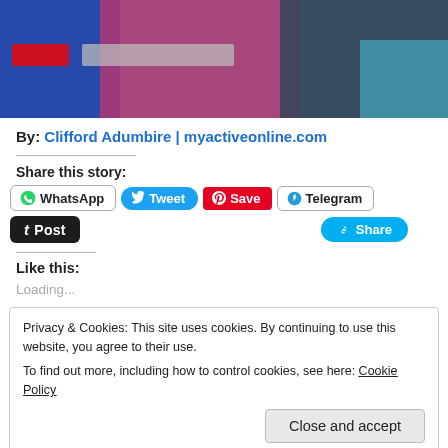[Figure (photo): Photo of people, partially cropped, with red and gray overlay badges]
By: Clifford Adumbire | myactiveonline.com
Share this story:
WhatsApp  Tweet  Save  Telegram  Post  Share
Like this:
Loading...
Privacy & Cookies: This site uses cookies. By continuing to use this website, you agree to their use.
To find out more, including how to control cookies, see here: Cookie Policy
Close and accept